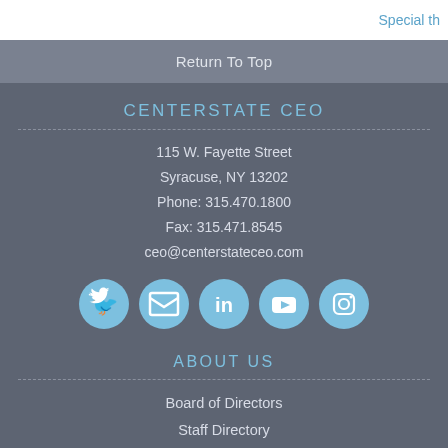Special th
Return To Top
CENTERSTATE CEO
115 W. Fayette Street
Syracuse, NY 13202
Phone: 315.470.1800
Fax: 315.471.8545
ceo@centerstateceo.com
[Figure (infographic): Social media icons: Twitter, Facebook, LinkedIn, YouTube, Instagram — each as a light blue circle with white icon]
ABOUT US
Board of Directors
Staff Directory